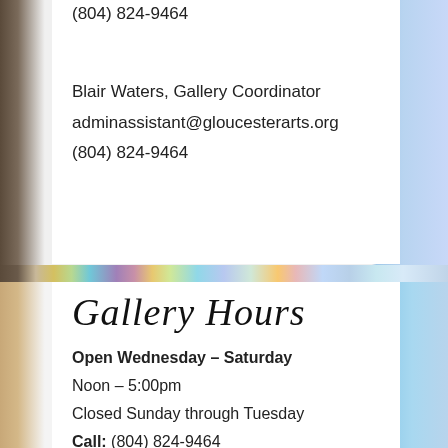(804) 824-9464
Blair Waters, Gallery Coordinator
adminassistant@gloucesterarts.org
(804) 824-9464
[Figure (photo): Colorful art supplies and paint palette background image strip]
Gallery Hours
Open Wednesday – Saturday
Noon – 5:00pm
Closed Sunday through Tuesday
Call: (804) 824-9464